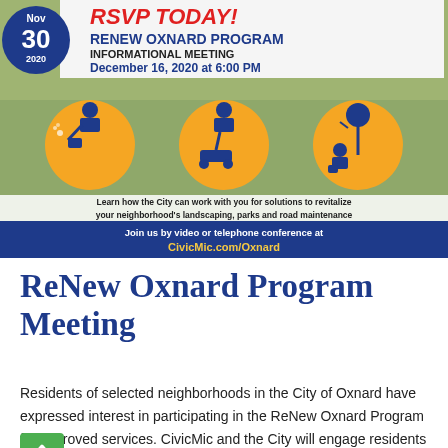[Figure (infographic): ReNew Oxnard Program Informational Meeting banner. Shows a date badge (Nov 30 2020), RSVP TODAY text, program title, meeting date December 16 2020 at 6:00 PM, three orange circles with icons of workers doing landscaping/lawn mowing/tree planting, descriptive text about city services, and blue bar with CivicMic.com/Oxnard link.]
ReNew Oxnard Program Meeting
Residents of selected neighborhoods in the City of Oxnard have expressed interest in participating in the ReNew Oxnard Program for improved services. CivicMic and the City will engage residents to build a long-lasting solution for each neighborhood. Engaged